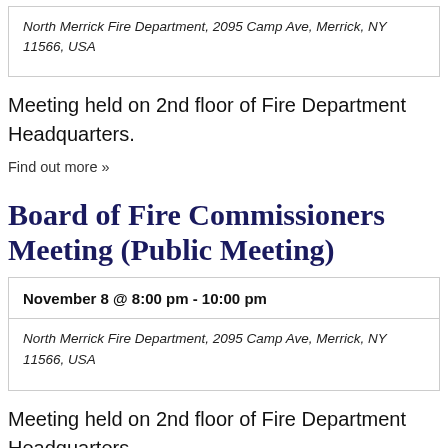North Merrick Fire Department, 2095 Camp Ave, Merrick, NY 11566, USA
Meeting held on 2nd floor of Fire Department Headquarters.
Find out more »
Board of Fire Commissioners Meeting (Public Meeting)
November 8 @ 8:00 pm - 10:00 pm
North Merrick Fire Department, 2095 Camp Ave, Merrick, NY 11566, USA
Meeting held on 2nd floor of Fire Department Headquarters.